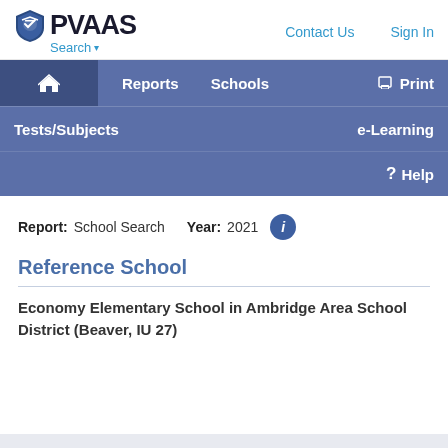[Figure (logo): PVAAS logo with graduation cap shield icon and text 'PVAAS']
Search ▾    Contact Us    Sign In
🏠  Reports  Schools  🖨 Print  Tests/Subjects  e-Learning  ? Help
Report: School Search   Year: 2021   ℹ
Reference School
Economy Elementary School in Ambridge Area School District (Beaver, IU 27)